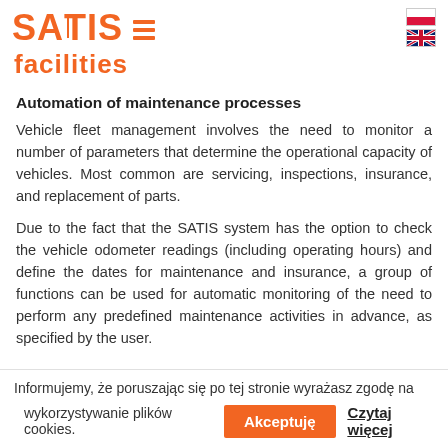SATIS (logo) — navigation header with hamburger menu and language flags
facilities (partial, cut off)
Automation of maintenance processes
Vehicle fleet management involves the need to monitor a number of parameters that determine the operational capacity of vehicles. Most common are servicing, inspections, insurance, and replacement of parts.
Due to the fact that the SATIS system has the option to check the vehicle odometer readings (including operating hours) and define the dates for maintenance and insurance, a group of functions can be used for automatic monitoring of the need to perform any predefined maintenance activities in advance, as specified by the user.
Informujemy, że poruszając się po tej stronie wyrażasz zgodę na wykorzystywanie plików cookies. Akceptuję  Czytaj więcej